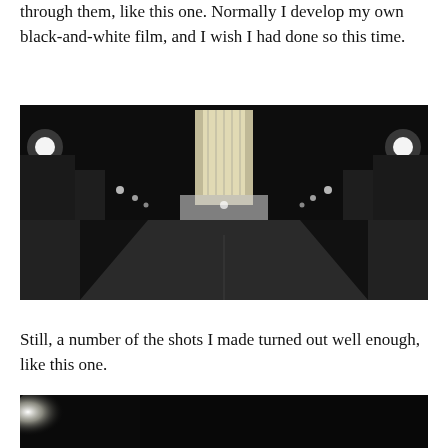through them, like this one. Normally I develop my own black-and-white film, and I wish I had done so this time.
[Figure (photo): Black and white night photograph looking down a city street toward an illuminated tall skyscraper, with street lights lining both sides of the road.]
Still, a number of the shots I made turned out well enough, like this one.
[Figure (photo): Partial black and white photograph, mostly dark with a bright light source visible at the left edge, cropped at the bottom of the page.]